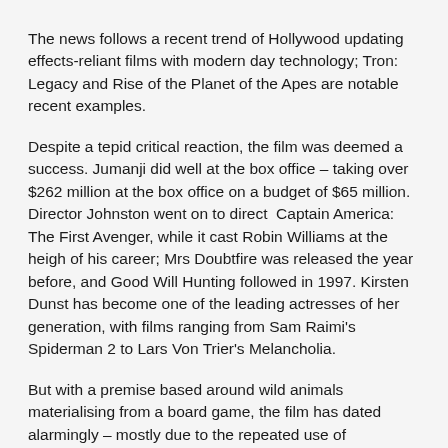The news follows a recent trend of Hollywood updating effects-reliant films with modern day technology; Tron: Legacy and Rise of the Planet of the Apes are notable recent examples.
Despite a tepid critical reaction, the film was deemed a success. Jumanji did well at the box office – taking over $262 million at the box office on a budget of $65 million. Director Johnston went on to direct Captain America: The First Avenger, while it cast Robin Williams at the heigh of his career; Mrs Doubtfire was released the year before, and Good Will Hunting followed in 1997. Kirsten Dunst has become one of the leading actresses of her generation, with films ranging from Sam Raimi's Spiderman 2 to Lars Von Trier's Melancholia.
But with a premise based around wild animals materialising from a board game, the film has dated alarmingly – mostly due to the repeated use of mechanised puppetry and rudimentary computer generated images.
Sony are obviously hoping a retelling of the story with the deployment of modern CGI – coupled with 3D -will whet the appetite of the cinema-going audience.